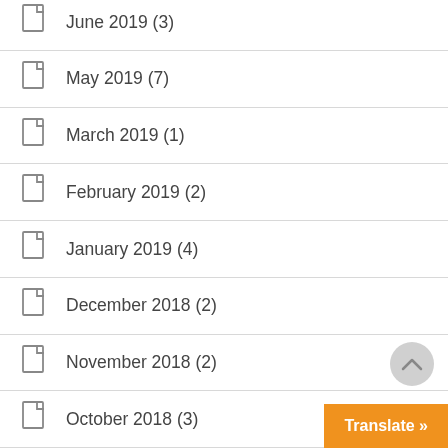June 2019 (3)
May 2019 (7)
March 2019 (1)
February 2019 (2)
January 2019 (4)
December 2018 (2)
November 2018 (2)
October 2018 (3)
September 2018 (1)
July 2018 (1)